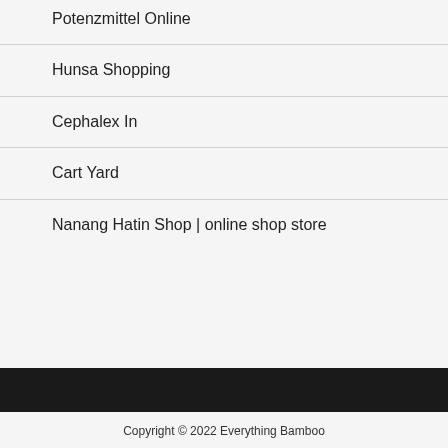Potenzmittel Online
Hunsa Shopping
Cephalex In
Cart Yard
Nanang Hatin Shop | online shop store
Copyright © 2022 Everything Bamboo